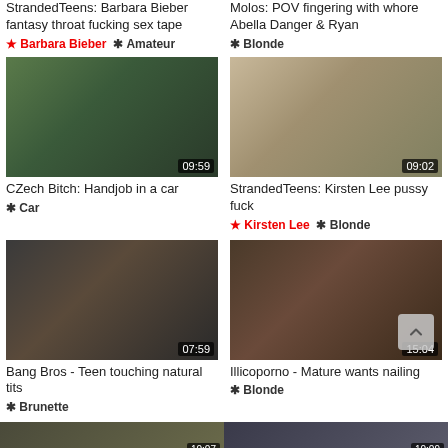StrandedTeens: Barbara Bieber fantasy throat fucking sex tape
★ Barbara Bieber  ✱ Amateur
Molos: POV fingering with whore Abella Danger & Ryan
✱ Blonde
[Figure (photo): Video thumbnail: CZech Bitch: Handjob in a car, duration 09:59]
CZech Bitch: Handjob in a car
✱ Car
[Figure (photo): Video thumbnail: StrandedTeens: Kirsten Lee pussy fuck, duration 09:02]
StrandedTeens: Kirsten Lee pussy fuck
★ Kirsten Lee  ✱ Blonde
[Figure (photo): Video thumbnail: Bang Bros - Teen touching natural tits, duration 07:59]
Bang Bros - Teen touching natural tits
✱ Brunette
[Figure (photo): Video thumbnail: Illicoporno - Mature wants nailing, duration 15:04]
Illicoporno - Mature wants nailing
✱ Blonde